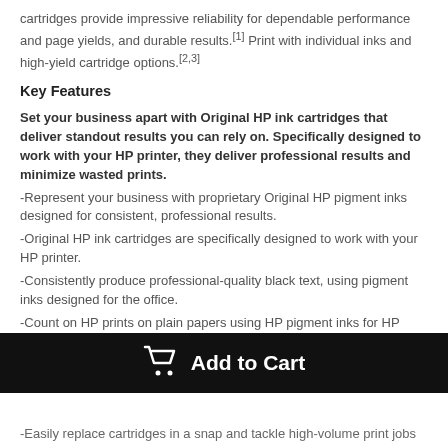cartridges provide impressive reliability for dependable performance and page yields, and durable results.[1] Print with individual inks and high-yield cartridge options.[2,3]
Key Features
Set your business apart with Original HP ink cartridges that deliver standout results you can rely on. Specifically designed to work with your HP printer, they deliver professional results and minimize wasted prints.
-Represent your business with proprietary Original HP pigment inks designed for consistent, professional results.
-Original HP ink cartridges are specifically designed to work with your HP printer.
-Consistently produce professional-quality black text, using pigment inks designed for the office.
-Count on HP prints on plain papers using HP pigment inks for HP OfficeJet and HP OfficeJet Pro printers to stay legible and useful for many years.[1]
Original HP ink cartridges are offered in different page yield sizes to match your printing volume and ease of use. Choose among standard and high yield cartridges. Replace cartridges easily
Add to Cart
-Easily replace cartridges in a snap and tackle high-volume print jobs